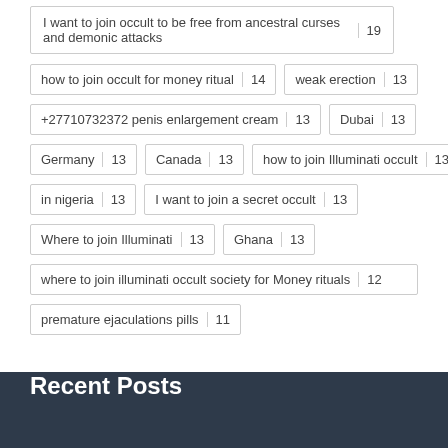I want to join occult to be free from ancestral curses and demonic attacks | 19
how to join occult for money ritual | 14
weak erection | 13
+27710732372 penis enlargement cream | 13
Dubai | 13
Germany | 13
Canada | 13
how to join Illuminati occult | 13
in nigeria | 13
I want to join a secret occult | 13
Where to join Illuminati | 13
Ghana | 13
where to join illuminati occult society for Money rituals | 12
premature ejaculations pills | 11
Recent Posts